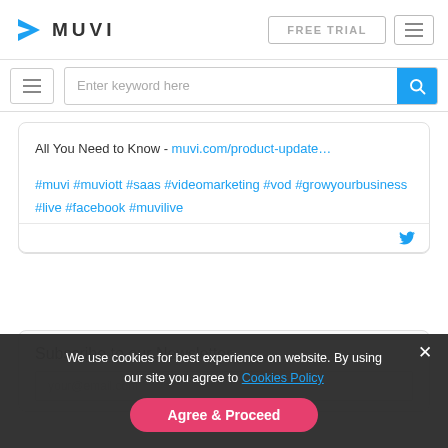MUVI — FREE TRIAL navigation bar with hamburger menu
[Figure (screenshot): Muvi website header with logo (blue arrow icon and MUVI text), FREE TRIAL button, and hamburger menu icon on the right]
[Figure (screenshot): Search bar row with hamburger icon on left, search input 'Enter keyword here', and blue search button on right]
All You Need to Know - muvi.com/product-update…

#muvi #muviott #saas #videomarketing #vod #growyourbusiness #live #facebook #muvilive
Subscribe to our Newsletter
We use cookies for best experience on website. By using our site you agree to Cookies Policy
Agree & Proceed